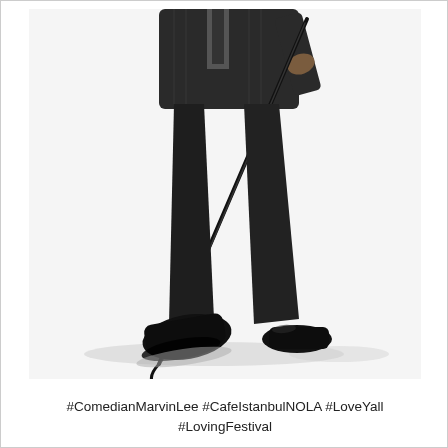[Figure (photo): A man dressed in a dark pinstripe suit and black dress shoes is photographed from about the torso down against a white background. He is in a dynamic walking or striding pose, holding a long thin cane or whip diagonally across his body, with one foot lifted and the cane tip touching the ground.]
#ComedianMarvinLee #CafeIstanbulNOLA #LoveYall #LovingFestival